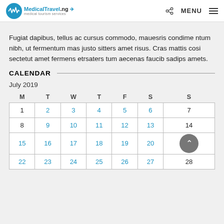MedicalTravel.ng — MENU
Fugiat dapibus, tellus ac cursus commodo, mauesris condimentum nibh, ut fermentum mas justo sitters amet risus. Cras mattis cosi sectetut amet fermens etrsaters tum aecenas faucib sadips amets.
CALENDAR
July 2019
| M | T | W | T | F | S | S |
| --- | --- | --- | --- | --- | --- | --- |
| 1 | 2 | 3 | 4 | 5 | 6 | 7 |
| 8 | 9 | 10 | 11 | 12 | 13 | 14 |
| 15 | 16 | 17 | 18 | 19 | 20 | ↑ |
| 22 | 23 | 24 | 25 | 26 | 27 | 28 |